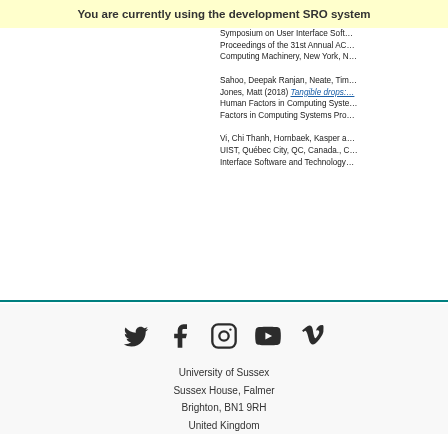You are currently using the development SRO system
Symposium on User Interface Software and Technology. Proceedings of the 31st Annual ACM Computing Machinery, New York, N…
Sahoo, Deepak Ranjan, Neate, Tim…, Jones, Matt (2018) Tangible drops:… Human Factors in Computing Systems. Factors in Computing Systems Pro…
Vi, Chi Thanh, Hornbaek, Kasper a… UIST, Québec City, QC, Canada., C… Interface Software and Technology…
University of Sussex
Sussex House, Falmer
Brighton, BN1 9RH
United Kingdom